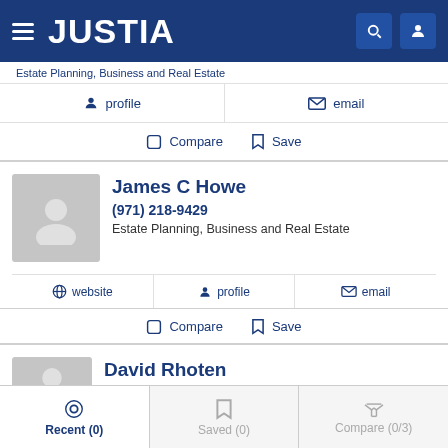JUSTIA
Estate Planning, Business and Real Estate
profile   email
Compare   Save
James C Howe
(971) 218-9429
Estate Planning, Business and Real Estate
website   profile   email
Compare   Save
David Rhoten
Recent (0)   Saved (0)   Compare (0/3)